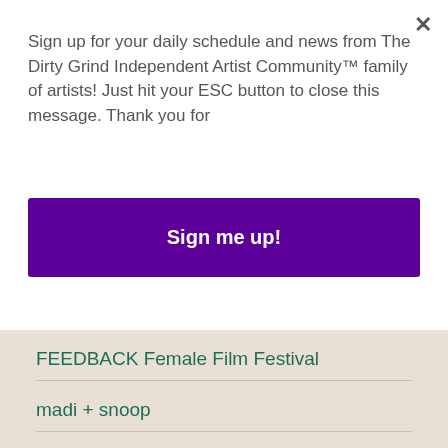Sign up for your daily schedule and news from The Dirty Grind Independent Artist Community™ family of artists! Just hit your ESC button to close this message. Thank you for
Sign me up!
FEEDBACK Female Film Festival
madi + snoop
unbolt me
Colleens Life In Pixels
The Wash